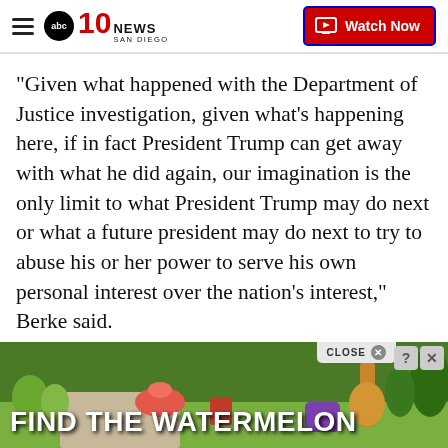10 News San Diego — Watch Now
"Given what happened with the Department of Justice investigation, given what's happening here, if in fact President Trump can get away with what he did again, our imagination is the only limit to what President Trump may do next or what a future president may do next to try to abuse his or her power to serve his own personal interest over the nation's interest," Berke said.
Goldman walked through the committee's investigation during his presentation, pointing to testimony Democrats say shows that Trump directed the effo
[Figure (screenshot): Advertisement banner: FIND THE WATERMELON — game/puzzle ad with garden background imagery, guitar, flowers. Close button and X/? icons visible.]